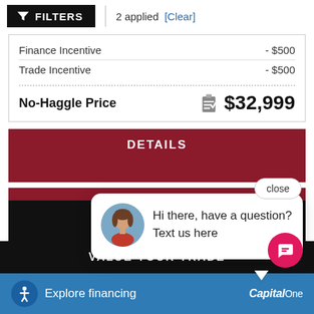FILTERS | 2 applied [Clear]
Finance Incentive  - $500
Trade Incentive  - $500
No-Haggle Price  $32,999
DETAILS
[Figure (screenshot): Close button overlay on dark red detail card area]
[Figure (screenshot): Chat popup with avatar of woman and text: Hi there, have a question? Text us here]
VALUE YOUR TRADE
Explore financing
[Figure (logo): Capital One logo in white italic text]